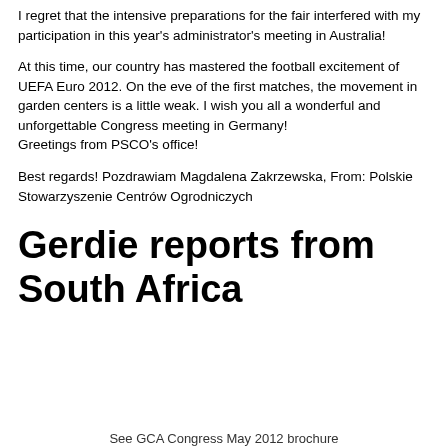I regret that the intensive preparations for the fair interfered with my participation in this year's administrator's meeting in Australia!
At this time, our country has mastered the football excitement of UEFA Euro 2012. On the eve of the first matches, the movement in garden centers is a little weak. I wish you all a wonderful and unforgettable Congress meeting in Germany!
Greetings from PSCO's office!
Best regards! Pozdrawiam Magdalena Zakrzewska, From: Polskie Stowarzyszenie Centrów Ogrodniczych
Gerdie reports from South Africa
See GCA Congress May 2012 brochure